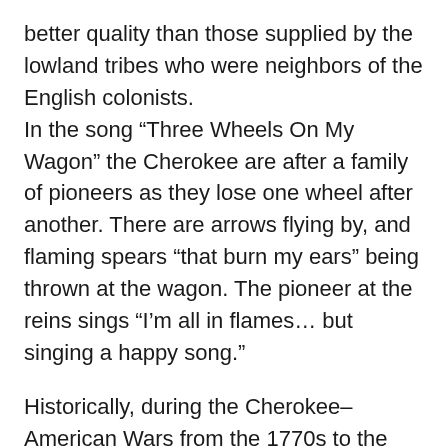better quality than those supplied by the lowland tribes who were neighbors of the English colonists. In the song “Three Wheels On My Wagon” the Cherokee are after a family of pioneers as they lose one wheel after another. There are arrows flying by, and flaming spears “that burn my ears” being thrown at the wagon. The pioneer at the reins sings “I’m all in flames… but singing a happy song.”
Historically, during the Cherokee–American Wars from the 1770s to the 1790s, the Cherokee were known to pursue pioneers who passed through their territory. Skirmishes took place as far northeast as the Maryland-Virginia border and as far southwest as eastern Oklahoma, as far north as southern Ohio, and as far south as St. Augustine, Florida. From their new bases,